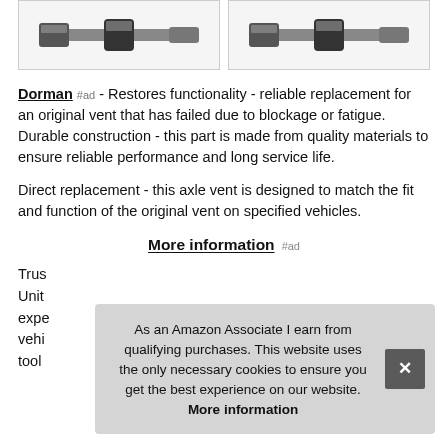[Figure (photo): Two product images of axle vents/bolts shown side by side, each in a white-bordered box]
Dorman #ad - Restores functionality - reliable replacement for an original vent that has failed due to blockage or fatigue. Durable construction - this part is made from quality materials to ensure reliable performance and long service life.
Direct replacement - this axle vent is designed to match the fit and function of the original vent on specified vehicles.
More information #ad
Trus... Unit... expe... vehi... tool...
As an Amazon Associate I earn from qualifying purchases. This website uses the only necessary cookies to ensure you get the best experience on our website. More information